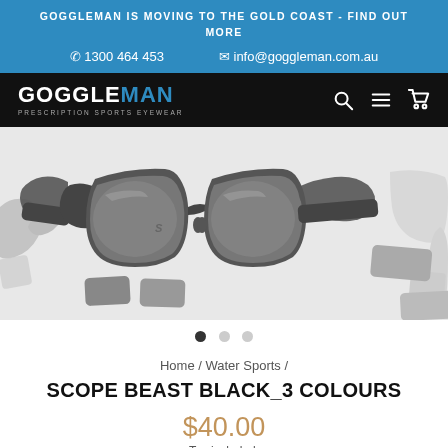GOGGLEMAN IS MOVING TO THE GOLD COAST - FIND OUT MORE
☎ 1300 464 453   ✉ info@goggleman.com.au
[Figure (logo): Goggleman logo with text PRESCRIPTION SPORTS EYEWEAR and navigation icons (search, menu, cart)]
[Figure (photo): Product image of Scope Beast Black sunglasses shown from multiple angles on a grey background with carousel dots below (1 of 3)]
Home / Water Sports /
SCOPE BEAST BLACK_3 COLOURS
$40.00
Tax included.